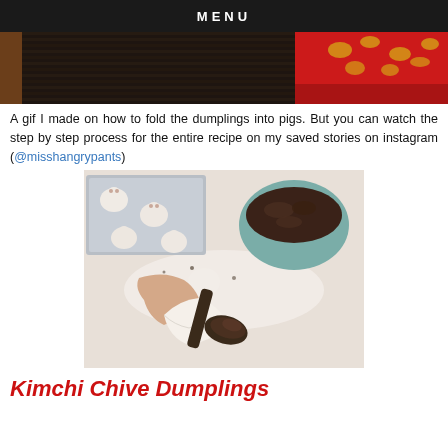MENU
[Figure (photo): Top portion of a dark textured placemat/table setting scene with a red cloth with gold pattern in the upper right corner]
A gif I made on how to fold the dumplings into pigs. But you can watch the step by step process for the entire recipe on my saved stories on instagram (@misshangrypants)
[Figure (photo): Food preparation photo showing hands holding an open dumpling wrapper being filled with kimchi filling using a spoon, with pig-shaped dumplings on a baking tray and a bowl of filling visible in the background]
Kimchi Chive Dumplings